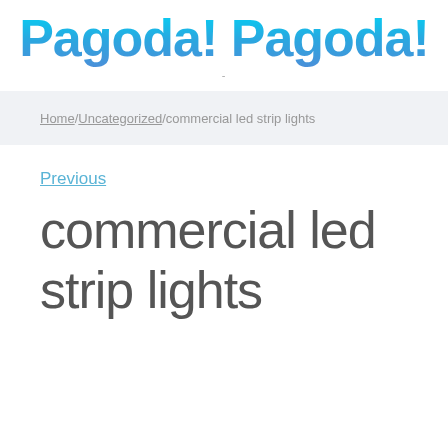Pagoda! Pagoda!
-
Home/Uncategorized/commercial led strip lights
Previous
commercial led strip lights